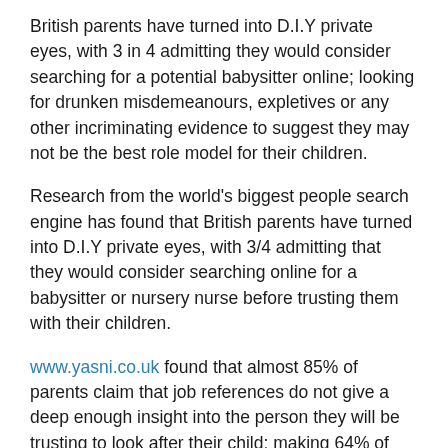British parents have turned into D.I.Y private eyes, with 3 in 4 admitting they would consider searching for a potential babysitter online; looking for drunken misdemeanours, expletives or any other incriminating evidence to suggest they may not be the best role model for their children.
Research from the world's biggest people search engine has found that British parents have turned into D.I.Y private eyes, with 3/4 admitting that they would consider searching online for a babysitter or nursery nurse before trusting them with their children.
www.yasni.co.uk found that almost 85% of parents claim that job references do not give a deep enough insight into the person they will be trusting to look after their child; making 64% of British parents too afraid to leave their children with anyone other than a close friend or family member.